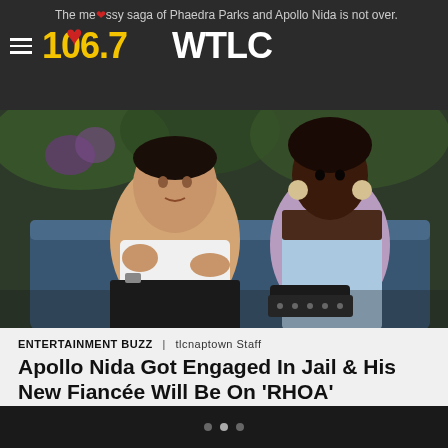The messy saga of Phaedra Parks and Apollo Nida is not over. | 106.7 WTLC
[Figure (photo): A man and a woman sitting on a couch, appearing to be on a TV show set. The man is gesturing with his hands and wearing a white shirt and dark pants. The woman is wearing a strapless light blue dress with large earrings.]
ENTERTAINMENT BUZZ | tlcnaptown Staff
Apollo Nida Got Engaged In Jail & His New Fiancée Will Be On 'RHOA'
In today's messy reality tea, Apollo Nida is reportedly engaged.